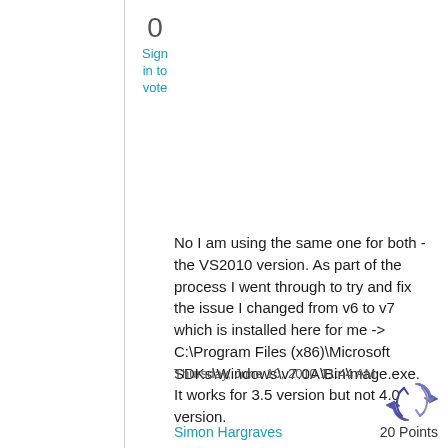0
Sign in to vote
No I am using the same one for both - the VS2010 version. As part of the process I went through to try and fix the issue I changed from v6 to v7 which is installed here for me -> C:\Program Files (x86)\Microsoft SDKs\Windows\v7.0A\Bin\mage.exe. It works for 3.5 version but not 4.0 version.
Thursday, June 10, 2010 11:44 AM
[Figure (illustration): User avatar icon with circular arrows/refresh symbol in blue]
Simon Hargraves
20 Points